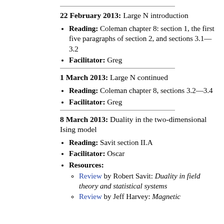22 February 2013: Large N introduction
Reading: Coleman chapter 8: section 1, the first five paragraphs of section 2, and sections 3.1—3.2
Facilitator: Greg
1 March 2013: Large N continued
Reading: Coleman chapter 8, sections 3.2—3.4
Facilitator: Greg
8 March 2013: Duality in the two-dimensional Ising model
Reading: Savit section II.A
Facilitator: Oscar
Resources:
Review by Robert Savit: Duality in field theory and statistical systems
Review by Jeff Harvey: Magnetic